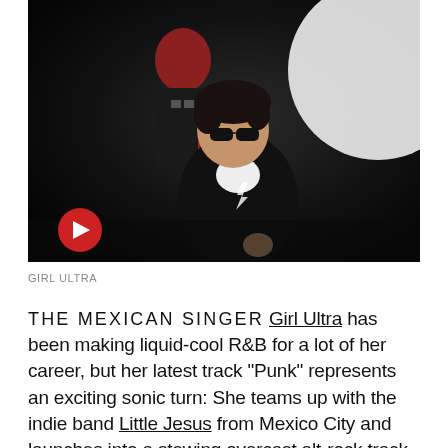[Figure (photo): Two musicians in dark setting shot with fisheye lens. Person in background has red hair and wears a black graphic tee. Person in foreground wears black jacket, white shirt, sunglasses, and has dark curly hair. A red circular play button is overlaid at bottom left.]
GIRL ULTRA
THE MEXICAN SINGER Girl Ultra has been making liquid-cool R&B for a lot of her career, but her latest track "Punk" represents an exciting sonic turn: She teams up with the indie band Little Jesus from Mexico City and launches into a stewing overcast alt-rock track that’s quiet, intense, and endlessly catchy, all while pulling her